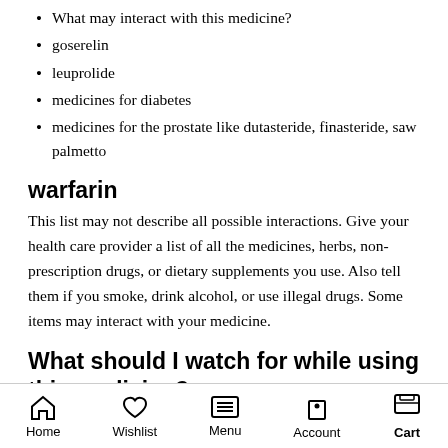What may interact with this medicine?
goserelin
leuprolide
medicines for diabetes
medicines for the prostate like dutasteride, finasteride, saw palmetto
warfarin
This list may not describe all possible interactions. Give your health care provider a list of all the medicines, herbs, non-prescription drugs, or dietary supplements you use. Also tell them if you smoke, drink alcohol, or use illegal drugs. Some items may interact with your medicine.
What should I watch for while using this medicine?
Visit your doctor for regular check ups. You will need to have important blood work done while you are taking this
Home  Wishlist  Menu  Account  Cart